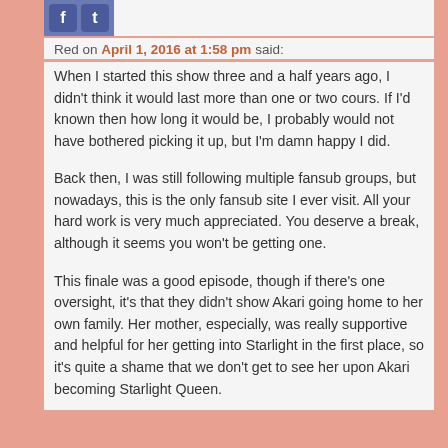[Figure (other): User avatar image strip at top of comment]
Red on April 1, 2016 at 1:58 pm said:
When I started this show three and a half years ago, I didn't think it would last more than one or two cours. If I'd known then how long it would be, I probably would not have bothered picking it up, but I'm damn happy I did.
Back then, I was still following multiple fansub groups, but nowadays, this is the only fansub site I ever visit. All your hard work is very much appreciated. You deserve a break, although it seems you won't be getting one.
This finale was a good episode, though if there's one oversight, it's that they didn't show Akari going home to her own family. Her mother, especially, was really supportive and helpful for her getting into Starlight in the first place, so it's quite a shame that we don't get to see her upon Akari becoming Starlight Queen.